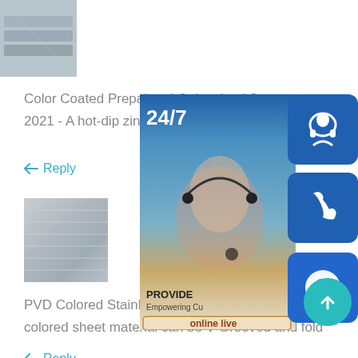[Figure (photo): Stacked galvanized steel sheets product photo]
Color Coated Prepainted Galvanized Stee
2021 - A hot-dip zinc-coated
↩ Reply
[Figure (photo): Brushed stainless steel sheet product photo]
[Figure (infographic): 24/7 customer service panel with headset operator photo, PROVIDE Empowering Cu... text, online live button, and blue icon buttons for headset, phone, and Skype]
PVD Colored Stainless Sheet Double Stone Steel
colored sheet material can be V-Grooved and fold
↩ Reply